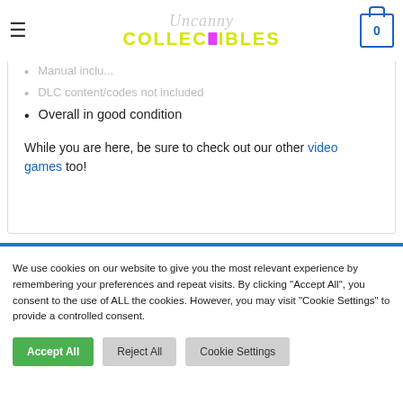Uncanny Collectibles — navigation header with cart icon showing 0
Manual included
DLC content/codes not included
Overall in good condition
While you are here, be sure to check out our other video games too!
We use cookies on our website to give you the most relevant experience by remembering your preferences and repeat visits. By clicking "Accept All", you consent to the use of ALL the cookies. However, you may visit "Cookie Settings" to provide a controlled consent.